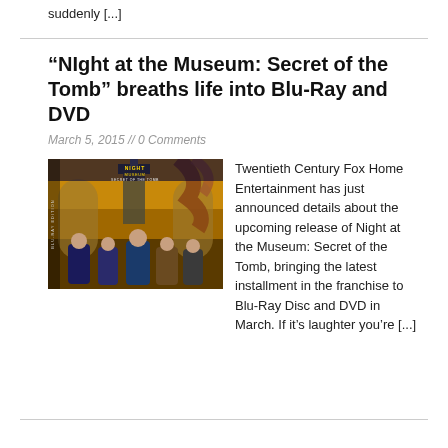suddenly [...]
“NIght at the Museum: Secret of the Tomb” breaths life into Blu-Ray and DVD
March 5, 2015 // 0 Comments
[Figure (photo): Night at the Museum: Secret of the Tomb Blu-Ray/DVD cover art showing movie characters and the title]
Twentieth Century Fox Home Entertainment has just announced details about the upcoming release of Night at the Museum: Secret of the Tomb, bringing the latest installment in the franchise to Blu-Ray Disc and DVD in March. If it’s laughter you’re [...]